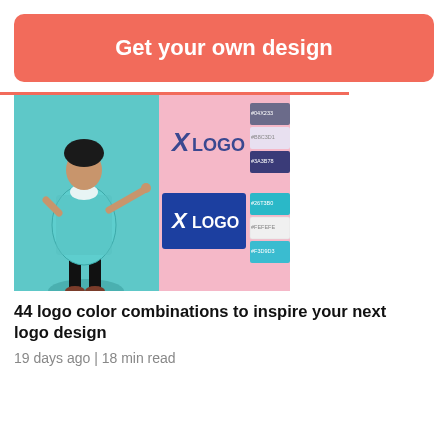Get your own design
[Figure (illustration): A stylized illustration showing logo color palette design examples. Left side shows a cartoon woman in a teal outfit. Center and right show pink and dark blue logo mockups with color swatches labeled with hex codes (#04X233, #B8C3D1, #3A3B78, #26T3B0, #FEFEFE, #F3D9D3).]
44 logo color combinations to inspire your next logo design
19 days ago | 18 min read